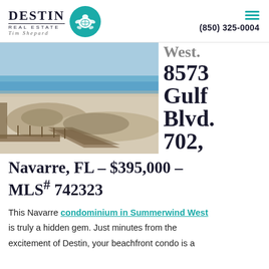Destin Real Estate Tim Shepard | (850) 325-0004
[Figure (photo): Aerial view of a beachfront boardwalk and sandy beach near Navarre, FL]
West. 8573 Gulf Blvd. 702, Navarre, FL - $395,000 - MLS# 742323
This Navarre condominium in Summerwind West is truly a hidden gem. Just minutes from the excitement of Destin, your beachfront condo is a